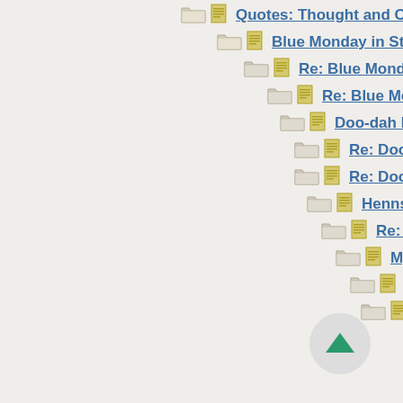Quotes: Thought and Counterthoughts
Blue Monday in Stellenbosh
Re: Blue Monday in Stellenbosh
Re: Blue Monday in Stellenbosh
Doo-dah Day: Campanology
Re: Doo-dah Day: Campanolog...
Re: Doo-dah Day: Campanolog...
Hennsylvania?
Re: Hennsylvania?
My tit for your tat.
Re: My tit for your tat.
Re: My tit for your t...